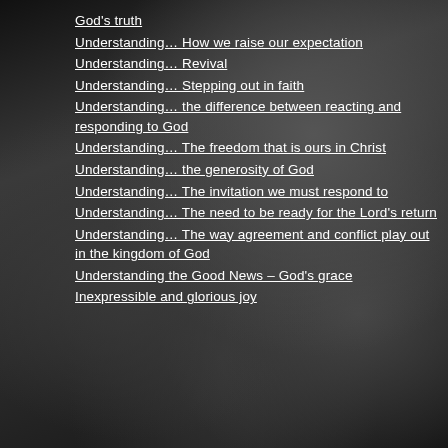God's truth
Understanding… How we raise our expectation
Understanding… Revival
Understanding… Stepping out in faith
Understanding… the difference between reacting and responding to God
Understanding… The freedom that is ours in Christ
Understanding… the generosity of God
Understanding… The invitation we must respond to
Understanding… The need to be ready for the Lord's return
Understanding… The way agreement and conflict play out in the kingdom of God
Understanding the Good News – God's grace
Inexpressible and glorious joy